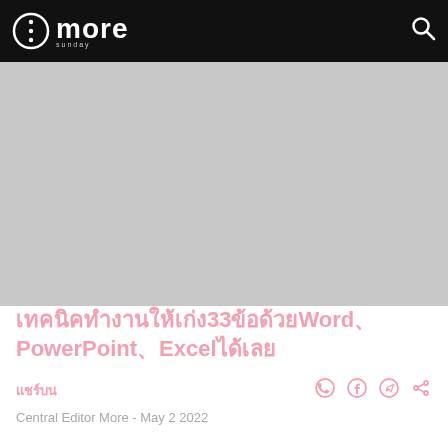more
[Figure (photo): Large gray placeholder image area for article hero image]
เทคนิคทำงานให้เก่ง33ข้อด้วยWord、PowerPoint、Excelได้เลย
แชร์บน
Central Editor More - May 2 2022